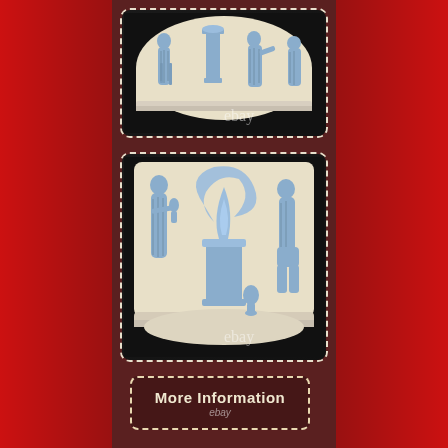[Figure (photo): Top close-up photo of a Wedgwood Jasperware vase with light blue classical figures on cream/white background, showing robed figures and columns. eBay watermark visible at bottom center. Photo has dashed rounded border.]
[Figure (photo): Bottom close-up photo of a Wedgwood Jasperware vase showing blue relief classical figures including robed figures, a flame/torch on a pedestal, and a seated figure on a cream/white background. eBay watermark visible at bottom center. Photo has dashed rounded border.]
More Information
ebay